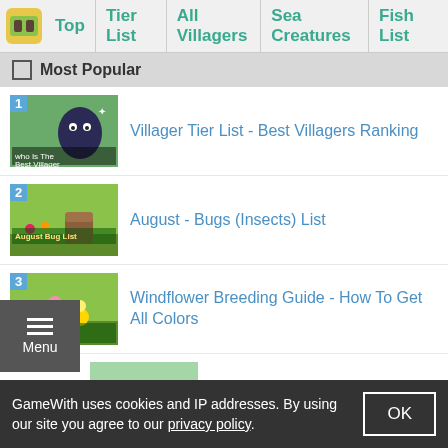Top | Tier List | All Villagers | Sea Creatures | Fish List
Most Popular
Villager Tier List - Best Villagers Ranking
August - Bugs (Insects) List
Windflower Breeding Guide - How To Get All Colors
Blue Roses - How to Get & Breed
[Figure (screenshot): Item 5 thumbnail partially visible]
GameWith uses cookies and IP addresses. By using our site you agree to our privacy policy.